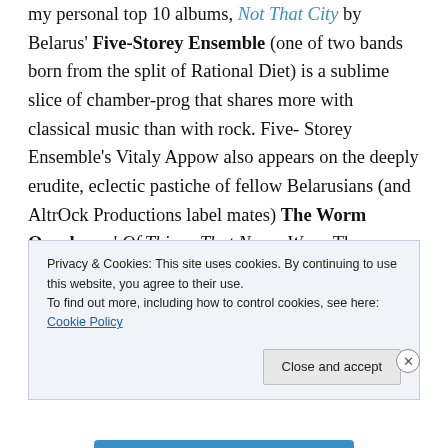my personal top 10 albums, Not That City by Belarus' Five-Storey Ensemble (one of two bands born from the split of Rational Diet) is a sublime slice of chamber-prog that shares more with classical music than with rock. Five-Storey Ensemble's Vitaly Appow also appears on the deeply erudite, eclectic pastiche of fellow Belarusians (and AltrOck Productions label mates) The Worm Ouroboros' Of Things That Never Were. The exhilarating jazz-rock-meets-Eastern-European-folk brew provided by Norwegian quintet Farmers' Market's fifth studio album,
Privacy & Cookies: This site uses cookies. By continuing to use this website, you agree to their use. To find out more, including how to control cookies, see here: Cookie Policy
Close and accept